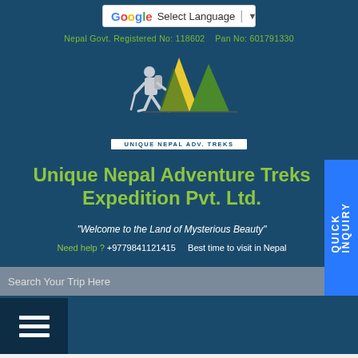[Figure (screenshot): Google Translate language selector bar showing 'G Select Language' with dropdown arrow]
Nepal Govt. Registered No: 118602    Pan No: 601791330
[Figure (logo): Unique Nepal Adv. Treks logo with hiker silhouette and mountain peaks in yellow and green]
Unique Nepal Adventure Treks Expedition Pvt. Ltd.
"Welcome to the Land of Mysterious Beauty"
Need help ? +9779841121415    Best time to visit in Nepal
Search Your Trip Here
[Figure (other): Hamburger menu button with three horizontal white lines on dark navy background]
QUICK INQUIRY